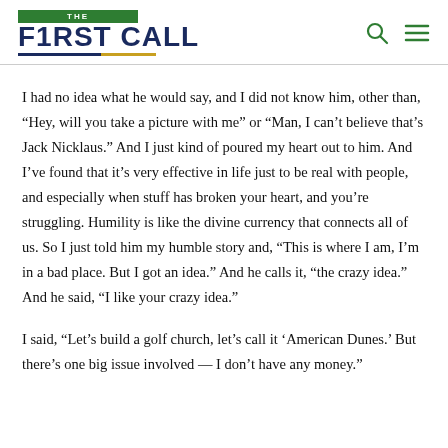THE F1RST CALL
I had no idea what he would say, and I did not know him, other than, “Hey, will you take a picture with me” or “Man, I can’t believe that’s Jack Nicklaus.” And I just kind of poured my heart out to him. And I’ve found that it’s very effective in life just to be real with people, and especially when stuff has broken your heart, and you’re struggling. Humility is like the divine currency that connects all of us. So I just told him my humble story and, “This is where I am, I’m in a bad place. But I got an idea.” And he calls it, “the crazy idea.” And he said, “I like your crazy idea.”
I said, “Let’s build a golf church, let’s call it ‘American Dunes.’ But there’s one big issue involved — I don’t have any money.”